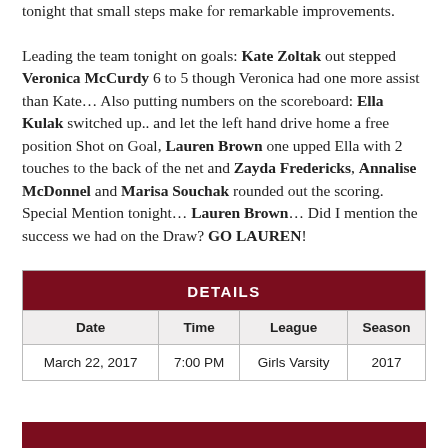tonight that small steps make for remarkable improvements.

Leading the team tonight on goals: Kate Zoltak out stepped Veronica McCurdy 6 to 5 though Veronica had one more assist than Kate… Also putting numbers on the scoreboard: Ella Kulak switched up.. and let the left hand drive home a free position Shot on Goal, Lauren Brown one upped Ella with 2 touches to the back of the net and Zayda Fredericks, Annalise McDonnel and Marisa Souchak rounded out the scoring. Special Mention tonight… Lauren Brown… Did I mention the success we had on the Draw? GO LAUREN!
| Date | Time | League | Season |
| --- | --- | --- | --- |
| March 22, 2017 | 7:00 PM | Girls Varsity | 2017 |